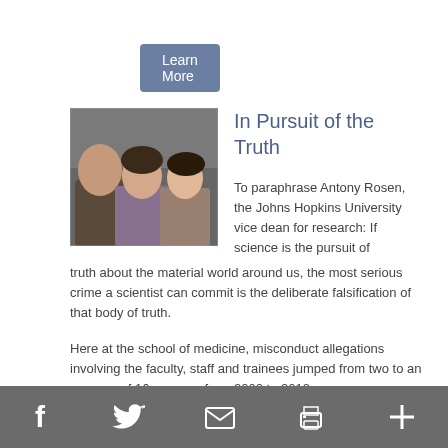Learn More
[Figure (photo): Group photo of three people: a bald man on the left, a woman in the center, and a woman on the right]
In Pursuit of the Truth
To paraphrase Antony Rosen, the Johns Hopkins University vice dean for research: If science is the pursuit of truth about the material world around us, the most serious crime a scientist can commit is the deliberate falsification of that body of truth.
Here at the school of medicine, misconduct allegations involving the faculty, staff and trainees jumped from two to an average of 16 per year from 2000 to 2012.
f  [Twitter]  [Email]  [Print]  +